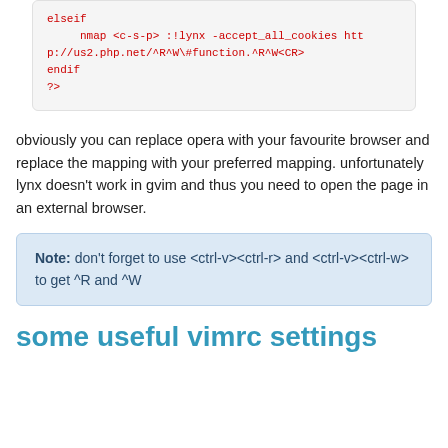elseif
    nmap <c-s-p> :!lynx -accept_all_cookies http://us2.php.net/^R^W\#function.^R^W<CR>
endif
?>
obviously you can replace opera with your favourite browser and replace the mapping with your preferred mapping. unfortunately lynx doesn't work in gvim and thus you need to open the page in an external browser.
Note: don't forget to use <ctrl-v><ctrl-r> and <ctrl-v><ctrl-w> to get ^R and ^W
some useful vimrc settings